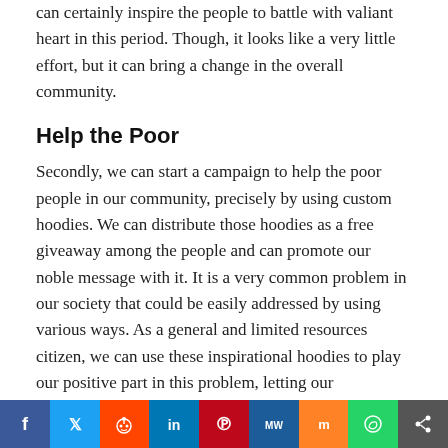can certainly inspire the people to battle with valiant heart in this period. Though, it looks like a very little effort, but it can bring a change in the overall community.
Help the Poor
Secondly, we can start a campaign to help the poor people in our community, precisely by using custom hoodies. We can distribute those hoodies as a free giveaway among the people and can promote our noble message with it. It is a very common problem in our society that could be easily addressed by using various ways. As a general and limited resources citizen, we can use these inspirational hoodies to play our positive part in this problem, letting our community to someday get rid of it.
Defeat Autism
Autism is yet another a typical problem that needs to be addressed using smart social means. We can also design
[Figure (other): Social sharing bar with icons for Facebook, Twitter, Reddit, LinkedIn, Pinterest, MeWe, Mix, WhatsApp, and Share]